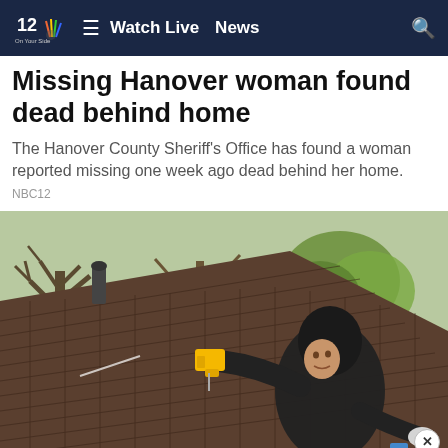NBC12 On Your Side — Watch Live  News
Missing Hanover woman found dead behind home
The Hanover County Sheriff's Office has found a woman reported missing one week ago dead behind her home.
NBC12
[Figure (photo): A man in a dark hoodie working on a rooftop, holding a yellow power tool near the gutter, with bare and leafy trees in the background and a brick building visible at lower right.]